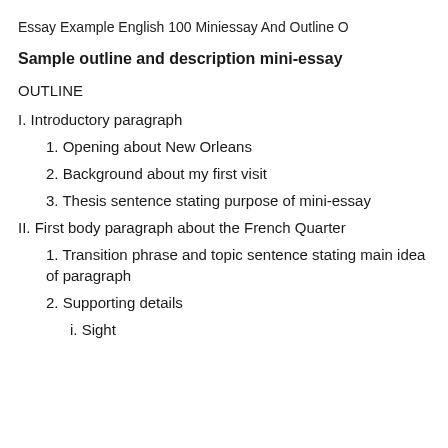Essay Example English 100 Miniessay And Outline O
Sample outline and description mini-essay
OUTLINE
I. Introductory paragraph
1. Opening about New Orleans
2. Background about my first visit
3. Thesis sentence stating purpose of mini-essay
II. First body paragraph about the French Quarter
1. Transition phrase and topic sentence stating main idea of paragraph
2. Supporting details
i. Sight